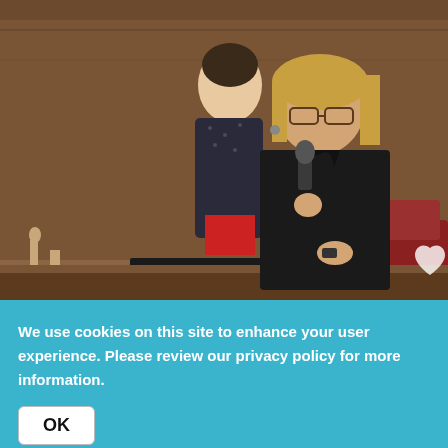[Figure (photo): Photo of Sen. Kelly Townsend speaking into a microphone at a legislative session, with a nameplate reading 'MICHELLE UGENTI-RITA - DISTRICT 29' visible on the desk. Another woman stands behind her.]
Howard Fischer/Capitol Media Services
Sen. Kelly Townsend explains April 22, 2021, why she won't support legislation crafted by Sen. Michelle Ugenti-Rita to impose new limits on the ability of people to remain on the
We use cookies on this site to enhance your user experience. Please review our privacy policy for more information.